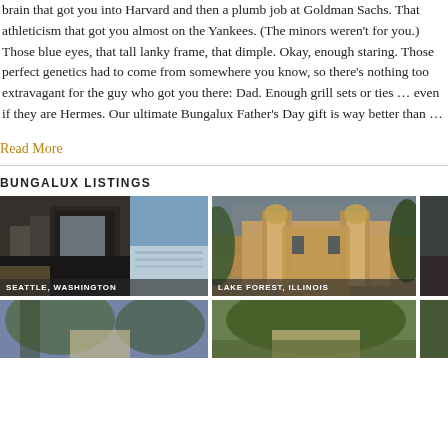brain that got you into Harvard and then a plumb job at Goldman Sachs. That athleticism that got you almost on the Yankees. (The minors weren't for you.) Those blue eyes, that tall lanky frame, that dimple. Okay, enough staring. Those perfect genetics had to come from somewhere you know, so there's nothing too extravagant for the guy who got you there: Dad. Enough grill sets or ties … even if they are Hermes. Our ultimate Bungalux Father's Day gift is way better than …
Read More
BUNGALUX LISTINGS
[Figure (photo): Interior of a modern luxury home in Seattle, Washington with large glass windows and city/water views]
[Figure (photo): Exterior of a grand estate in Lake Forest, Illinois with ornate stone gate columns and mature trees]
[Figure (photo): Partial view of a third property listing, partially cropped at right edge]
[Figure (photo): Bottom row left property listing photo, partially visible]
[Figure (photo): Bottom row center property listing photo, partially visible]
[Figure (photo): Bottom row right property listing photo, partially visible]